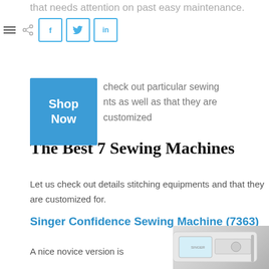that needs attention on past easy maintenance.
[Figure (other): Social sharing icons row: hamburger menu, share icon, Facebook (f), Twitter (bird), LinkedIn (in) buttons]
check out particular sewing
nts as well as that they are customized for.
[Figure (other): Blue 'Shop Now' button]
The Best 7 Sewing Machines
Let us check out details stitching equipments and that they are customized for.
Singer Confidence Sewing Machine (7363)
A nice novice version is
[Figure (photo): Partial photo of a Singer sewing machine (white/light colored) at bottom right corner of page]